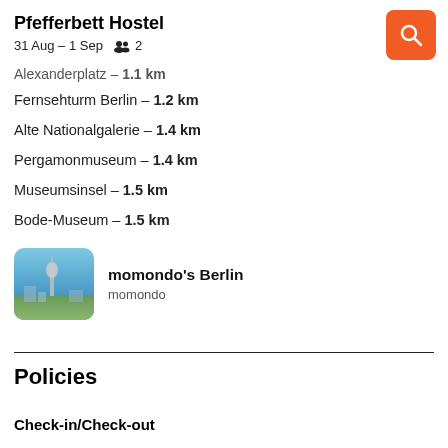Pfefferbett Hostel
31 Aug – 1 Sep   2
Alexanderplatz – 1.1 km
Fernsehturm Berlin – 1.2 km
Alte Nationalgalerie – 1.4 km
Pergamonmuseum – 1.4 km
Museumsinsel – 1.5 km
Bode-Museum – 1.5 km
[Figure (photo): Aerial photo of Berlin city skyline with TV tower]
momondo's Berlin
momondo
Policies
Check-in/Check-out